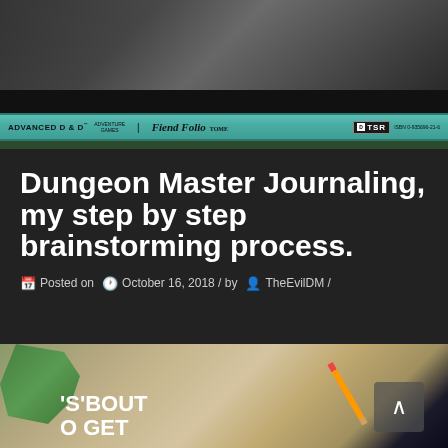[Figure (photo): Top portion showing dark background with gaming materials/tabletop items partially visible]
[Figure (photo): Advanced D&D Fiend Folio book spine showing teal/cyan color with TSR logo and ISBN]
Dungeon Master Journaling, my step by step brainstorming process.
Posted on October 16, 2018 / by TheEvilDM /
[Figure (photo): Bottom photo showing a dark journal/notebook with text IT'S'BOUT GET, a red pencil, green plant leaves, on a wooden surface]